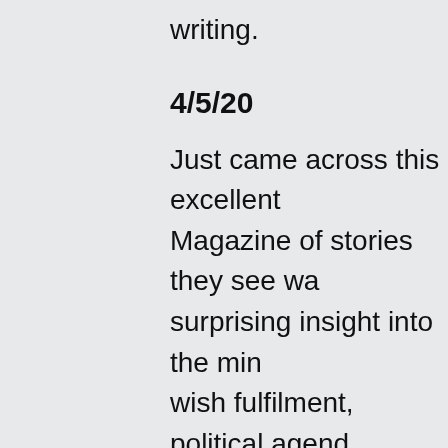writing.
4/5/20
Just came across this excellent Magazine of stories they see way surprising insight into the mind wish fulfilment, political agenda 'Story consists of recipes for, or eating sentient beings.' Like, the they had to put that in there? Je
3/5/20
Almost halfway through this de creepiness is my favourite kind even more than the dread of a b